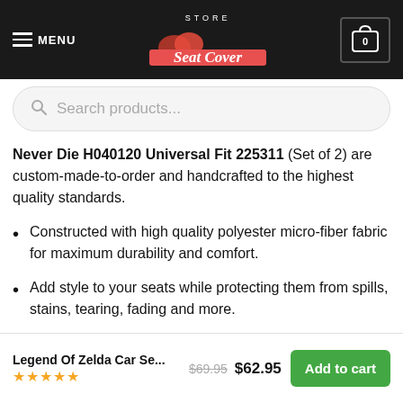MENU | Store Seat Cover | 0
Search products...
Never Die H040120 Universal Fit 225311 (Set of 2) are custom-made-to-order and handcrafted to the highest quality standards.
Constructed with high quality polyester micro-fiber fabric for maximum durability and comfort.
Add style to your seats while protecting them from spills, stains, tearing, fading and more.
Designed for quick and easy installation on most car and SUV bucket style seats – no tools required.
Elastic backing and fastening system ensures a snug and
Legend Of Zelda Car Se... $69.95 $62.95 Add to cart ★★★★★